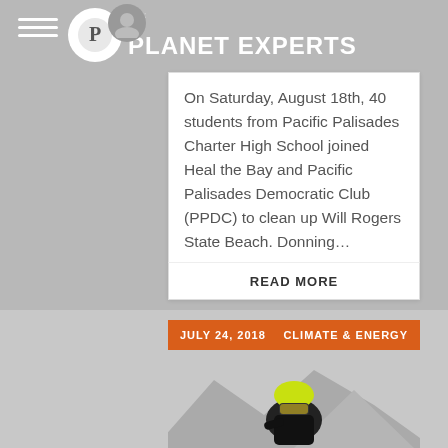BY: PLANET EXPERTS
On Saturday, August 18th, 40 students from Pacific Palisades Charter High School joined Heal the Bay and Pacific Palisades Democratic Club (PPDC) to clean up Will Rogers State Beach. Donning…
READ MORE
JULY 24, 2018   CLIMATE & ENERGY
[Figure (photo): Cyclist wearing yellow helmet and black jersey riding with mountain backdrop]